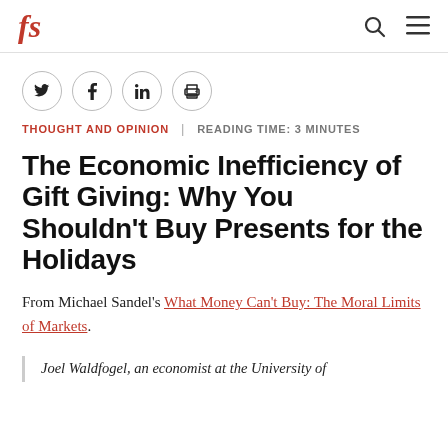fs | search | menu
Twitter, Facebook, LinkedIn, Print icons
THOUGHT AND OPINION | READING TIME: 3 MINUTES
The Economic Inefficiency of Gift Giving: Why You Shouldn't Buy Presents for the Holidays
From Michael Sandel's What Money Can't Buy: The Moral Limits of Markets.
Joel Waldfogel, an economist at the University of